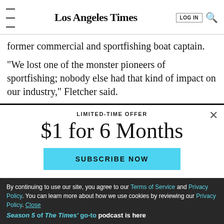Los Angeles Times
former commercial and sportfishing boat captain.
“We lost one of the monster pioneers of sportfishing; nobody else had that kind of impact on our industry,” Fletcher said.
LIMITED-TIME OFFER
$1 for 6 Months
SUBSCRIBE NOW
By continuing to use our site, you agree to our Terms of Service and Privacy Policy. You can learn more about how we use cookies by reviewing our Privacy Policy. Close
Season 5 of The Times’ go-to podcast is here